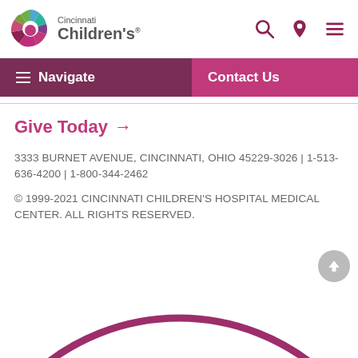[Figure (logo): Cincinnati Children's Hospital logo with colorful circular icon and text]
Navigate | Contact Us
Give Today →
3333 BURNET AVENUE, CINCINNATI, OHIO 45229-3026 | 1-513-636-4200 | 1-800-344-2462
© 1999-2021 CINCINNATI CHILDREN'S HOSPITAL MEDICAL CENTER. ALL RIGHTS RESERVED.
[Figure (illustration): Partial circular arc decoration at bottom of page in pink/magenta and light blue colors]